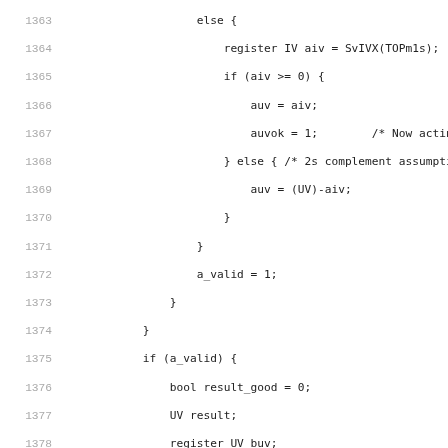Source code listing, lines 1363-1394, showing C-like code with conditional logic for register IV/UV operations and validity checks.